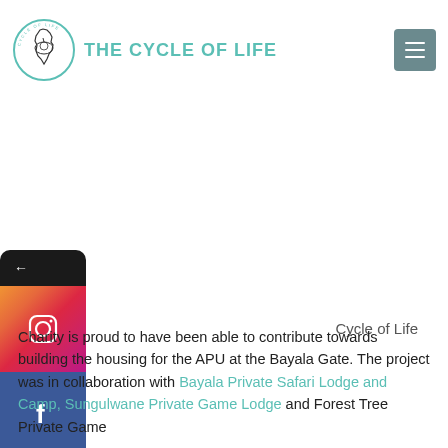[Figure (logo): Cycle of Life logo: circle with Africa silhouette and rhino, teal outline, text THE CYCLE OF LIFE in teal]
[Figure (other): Hamburger menu button, grey-blue rounded square with three white horizontal lines]
[Figure (other): Social media sidebar: dark top arrow button, Instagram gradient icon, Facebook blue icon]
Cycle of Life
Charity is proud to have been able to contribute towards building the housing for the APU at the Bayala Gate. The project was in collaboration with Bayala Private Safari Lodge and Camp, Sungulwane Private Game Lodge and Forest Tree Private Game